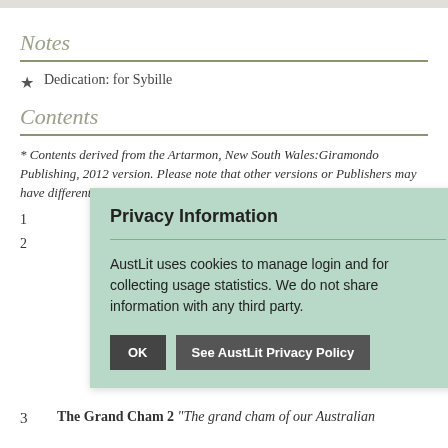Notes
★ Dedication: for Sybille
Contents
* Contents derived from the Artarmon, New South Wales:Giramondo Publishing, 2012 version. Please note that other versions or publishers may have different contents.
1 [entry text partially obscured]
2 [entry text partially obscured] ng
[Figure (other): Privacy Information modal overlay: 'AustLit uses cookies to manage login and for collecting usage statistics. We do not share information with any third party.' with OK and See AustLit Privacy Policy buttons]
3 The Grand Cham 2 "The grand cham of our Australian